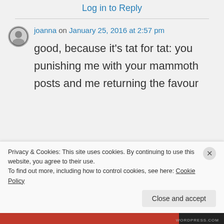Log in to Reply
joanna on January 25, 2016 at 2:57 pm
good, because it's tat for tat: you punishing me with your mammoth posts and me returning the favour
Privacy & Cookies: This site uses cookies. By continuing to use this website, you agree to their use.
To find out more, including how to control cookies, see here: Cookie Policy